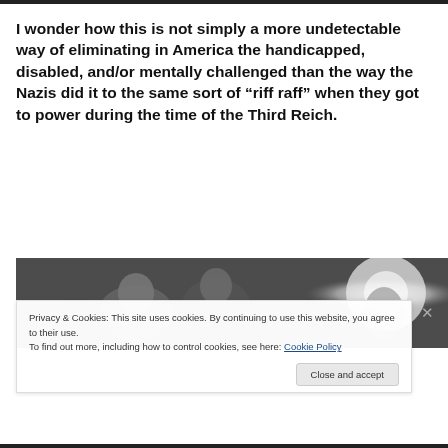I wonder how this is not simply a more undetectable way of eliminating in America the handicapped, disabled, and/or mentally challenged than the way the Nazis did it to the same sort of “riff raff” when they got to power during the time of the Third Reich.
[Figure (photo): Black and white photograph of people in a crowded bunk or barracks setting, with a glowing halo-like light visible on the right side.]
Privacy & Cookies: This site uses cookies. By continuing to use this website, you agree to their use.
To find out more, including how to control cookies, see here: Cookie Policy
Close and accept